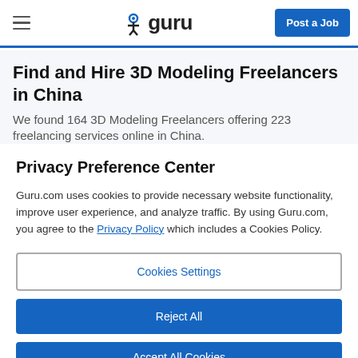guru — Post a Job
Find and Hire 3D Modeling Freelancers in China
We found 164 3D Modeling Freelancers offering 223 freelancing services online in China.
Privacy Preference Center
Guru.com uses cookies to provide necessary website functionality, improve user experience, and analyze traffic. By using Guru.com, you agree to the Privacy Policy which includes a Cookies Policy.
Cookies Settings
Reject All
Accept All Cookies